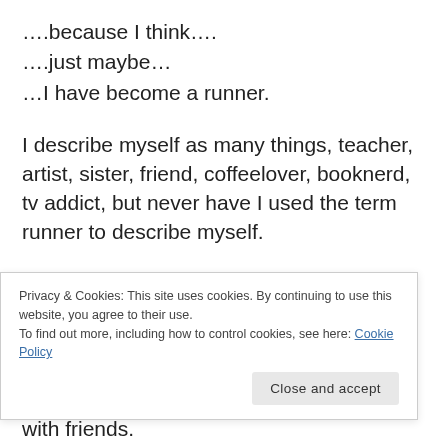….because I think….
….just maybe…
…I have become a runner.
I describe myself as many things, teacher, artist, sister, friend, coffeelover, booknerd, tv addict, but never have I used the term runner to describe myself.
It is a surreal thing for me, as someone who hated
Privacy & Cookies: This site uses cookies. By continuing to use this website, you agree to their use.
To find out more, including how to control cookies, see here: Cookie Policy
with friends.